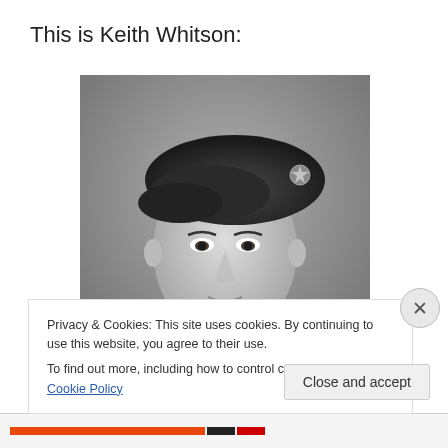This is Keith Whitson:
[Figure (photo): Black and white portrait photograph of a young man wearing a military beret with a badge on it, looking directly at the camera with a serious expression.]
Privacy & Cookies: This site uses cookies. By continuing to use this website, you agree to their use.
To find out more, including how to control cookies, see here: Cookie Policy